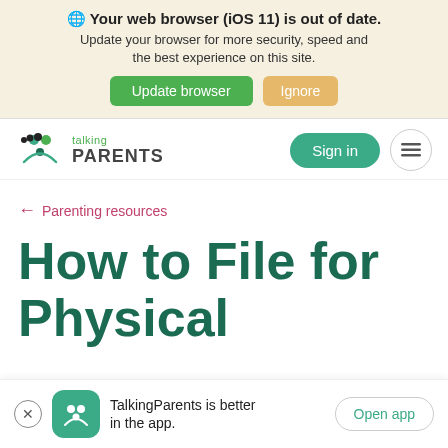🌐 Your web browser (iOS 11) is out of date. Update your browser for more security, speed and the best experience on this site. Update browser | Ignore
[Figure (logo): TalkingParents logo with icon of two adults and a child]
Sign in
← Parenting resources
How to File for Physical
TalkingParents is better in the app. Open app